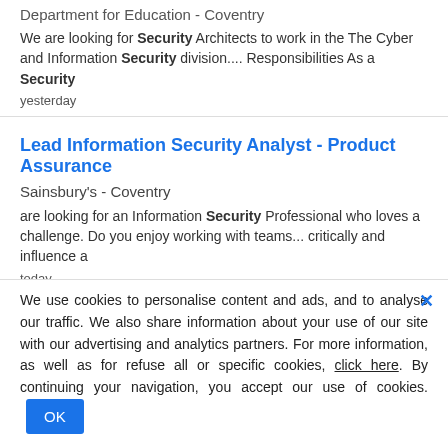Department for Education  -  Coventry
We are looking for Security Architects to work in the The Cyber and Information Security division.... Responsibilities As a Security
yesterday
Lead Information Security Analyst - Product Assurance
Sainsbury's  -  Coventry
are looking for an Information Security Professional who loves a challenge. Do you enjoy working with teams... critically and influence a
today
Search results - Security Jobs in Coventry
Security Response Officer
Coventry
We use cookies to personalise content and ads, and to analyse our traffic. We also share information about your use of our site with our advertising and analytics partners. For more information, as well as for refuse all or specific cookies, click here. By continuing your navigation, you accept our use of cookies.